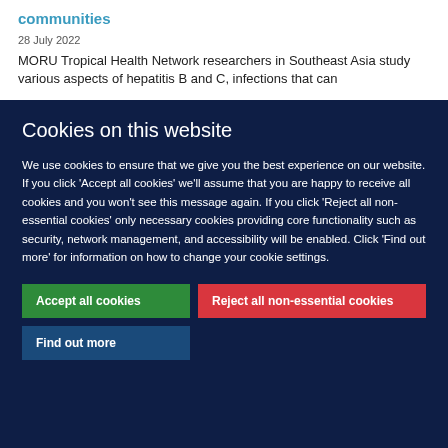communities
28 July 2022
MORU Tropical Health Network researchers in Southeast Asia study various aspects of hepatitis B and C, infections that can
Cookies on this website
We use cookies to ensure that we give you the best experience on our website. If you click 'Accept all cookies' we'll assume that you are happy to receive all cookies and you won't see this message again. If you click 'Reject all non-essential cookies' only necessary cookies providing core functionality such as security, network management, and accessibility will be enabled. Click 'Find out more' for information on how to change your cookie settings.
Accept all cookies
Reject all non-essential cookies
Find out more